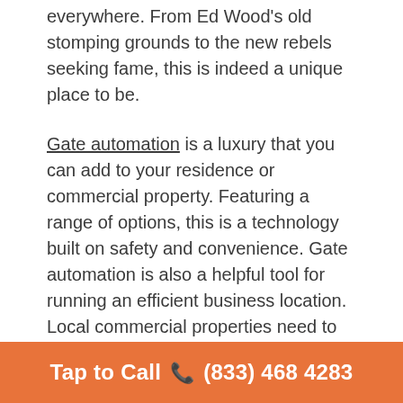everywhere. From Ed Wood's old stomping grounds to the new rebels seeking fame, this is indeed a unique place to be.
Gate automation is a luxury that you can add to your residence or commercial property. Featuring a range of options, this is a technology built on safety and convenience. Gate automation is also a helpful tool for running an efficient business location. Local commercial properties need to abide by a system that keeps all the parts moving, which is why owners have upgraded to automated gates.
Better Gate Setup
Tap to Call 📞 (833) 468 4283